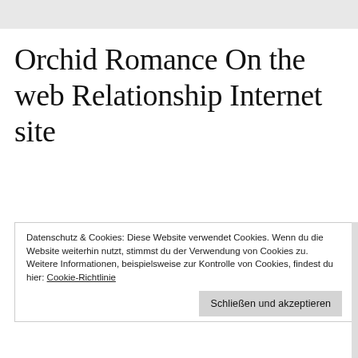Orchid Romance On the web Relationship Internet site
Datenschutz & Cookies: Diese Website verwendet Cookies. Wenn du die Website weiterhin nutzt, stimmst du der Verwendung von Cookies zu. Weitere Informationen, beispielsweise zur Kontrolle von Cookies, findest du hier: Cookie-Richtlinie
Schließen und akzeptieren
specialized platform Orchid...
English helps in this article too. Girls — costs differ,